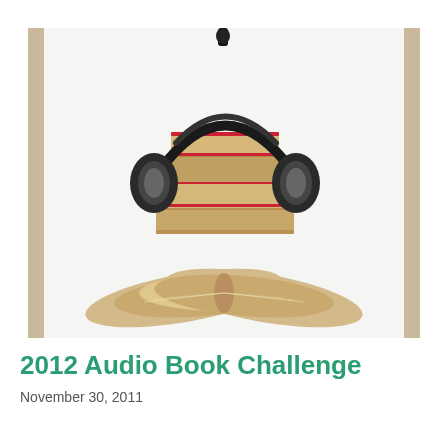[Figure (illustration): Stack of books with headphones placed over them, and an open book fanned out at the bottom — audiobook concept image with tan/beige vertical stripes on left and right edges of the image frame]
2012 Audio Book Challenge
November 30, 2011